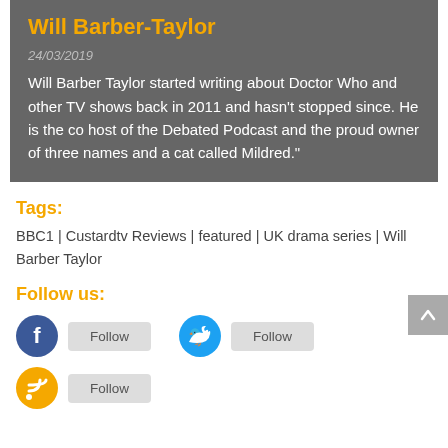Will Barber-Taylor
24/03/2019
Will Barber Taylor started writing about Doctor Who and other TV shows back in 2011 and hasn't stopped since. He is the co host of the Debated Podcast and the proud owner of three names and a cat called Mildred."
Tags:
BBC1 | Custardtv Reviews | featured | UK drama series | Will Barber Taylor
Follow us: